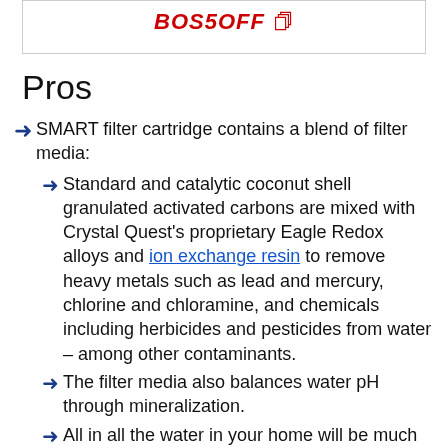BOS5OFF
Pros
SMART filter cartridge contains a blend of filter media:
Standard and catalytic coconut shell granulated activated carbons are mixed with Crystal Quest's proprietary Eagle Redox alloys and ion exchange resin to remove heavy metals such as lead and mercury, chlorine and chloramine, and chemicals including herbicides and pesticides from water – among other contaminants.
The filter media also balances water pH through mineralization.
All in all the water in your home will be much